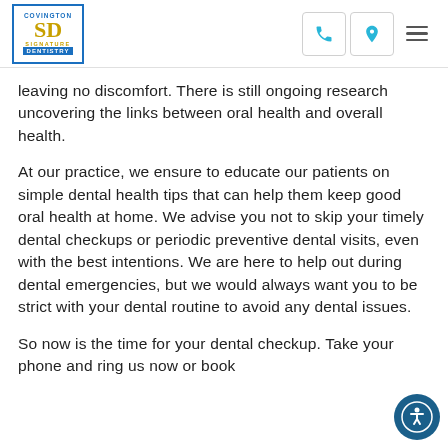Covington Signature Dentistry — navigation header with logo, phone, location, and menu icons
leaving no discomfort. There is still ongoing research uncovering the links between oral health and overall health.
At our practice, we ensure to educate our patients on simple dental health tips that can help them keep good oral health at home. We advise you not to skip your timely dental checkups or periodic preventive dental visits, even with the best intentions. We are here to help out during dental emergencies, but we would always want you to be strict with your dental routine to avoid any dental issues.
So now is the time for your dental checkup. Take your phone and ring us now or book